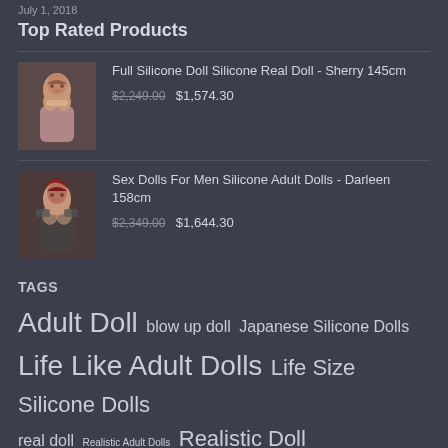July 1, 2018
Top Rated Products
Full Silicone Doll Silicone Real Doll - Sherry 145cm
$2,249.00 $1,574.30
Sex Dolls For Men Silicone Adult Dolls - Darleen 158cm
$2,349.00 $1,644.30
TAGS
Adult Doll blow up doll Japanese Silicone Dolls Life Like Adult Dolls Life Size Silicone Dolls real doll Realistic Adult Dolls Realistic Doll Realistic Silicone Dolls Real Silicone Doll sex doll silicone doll Silicone Sex Doll